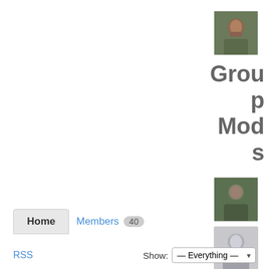[Figure (photo): User avatar photo - man with beard, outdoor background]
Group Mods
[Figure (photo): User avatar photo - person outdoors]
[Figure (photo): User avatar photo - generic/default silhouette]
[Figure (photo): User avatar photo - woman with dark hair]
Home   Members  40
RSS
Show: — Everything —